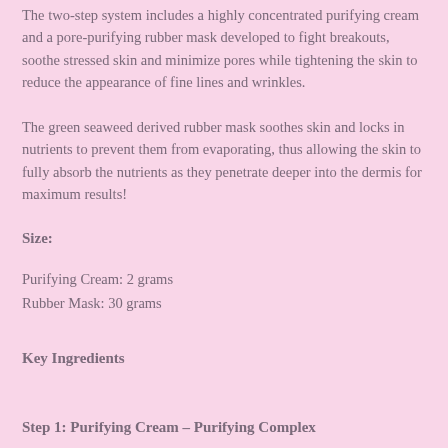The two-step system includes a highly concentrated purifying cream and a pore-purifying rubber mask developed to fight breakouts, soothe stressed skin and minimize pores while tightening the skin to reduce the appearance of fine lines and wrinkles.
The green seaweed derived rubber mask soothes skin and locks in nutrients to prevent them from evaporating, thus allowing the skin to fully absorb the nutrients as they penetrate deeper into the dermis for maximum results!
Size:
Purifying Cream: 2 grams
Rubber Mask: 30 grams
Key Ingredients
Step 1: Purifying Cream – Purifying Complex